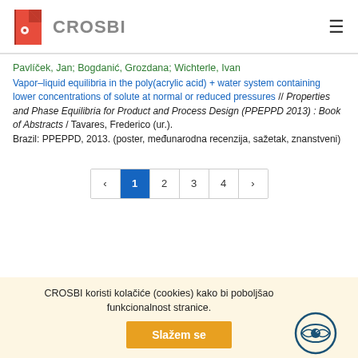CROSBI
Pavlíček, Jan; Bogdanić, Grozdana; Wichterle, Ivan
Vapor–liquid equilibria in the poly(acrylic acid) + water system containing lower concentrations of solute at normal or reduced pressures // Properties and Phase Equilibria for Product and Process Design (PPEPPD 2013) : Book of Abstracts / Tavares, Frederico (ur.).
Brazil: PPEPPD, 2013. (poster, međunarodna recenzija, sažetak, znanstveni)
‹ 1 2 3 4 ›
CROSBI koristi kolačiće (cookies) kako bi poboljšao funkcionalnost stranice.
Slažem se